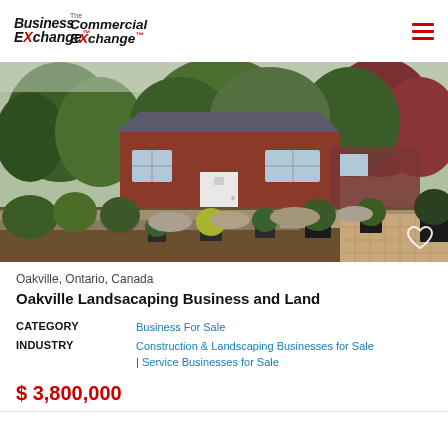Business Exchange | The Commercial Exchange
[Figure (photo): Exterior photo of a red brick/siding building with a white door, surrounded by landscaped gardens with potted plants, stone steps, and lush trees in the background.]
Oakville, Ontario, Canada
Oakville Landsacaping Business and Land
|  |  |
| --- | --- |
| CATEGORY | Business For Sale |
| INDUSTRY | Construction & Landscaping Businesses for Sale | Service Businesses for Sale |
$ 3,800,000